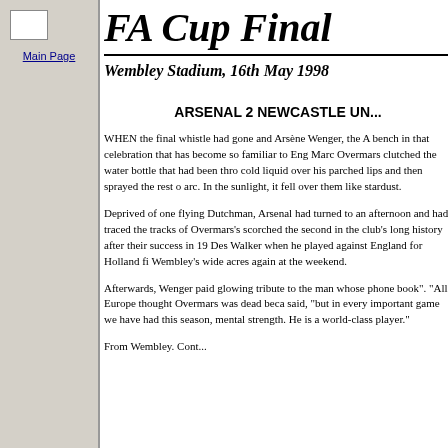[Figure (other): Small image placeholder in sidebar]
Main Page
FA Cup Final
Wembley Stadium, 16th May 1998
ARSENAL 2 NEWCASTLE UN...
WHEN the final whistle had gone and Arsène Wenger, the A... bench in that celebration that has become so familiar to Eng... Marc Overmars clutched the water bottle that had been thro... cold liquid over his parched lips and then sprayed the rest o... arc. In the sunlight, it fell over them like stardust.
Deprived of one flying Dutchman, Arsenal had turned to an... afternoon and had traced the tracks of Overmars's scorched ... the second in the club's long history after their success in 19... Des Walker when he played against England for Holland fi... Wembley's wide acres again at the weekend.
Afterwards, Wenger paid glowing tribute to the man whose... phone book". "All Europe thought Overmars was dead beca... said, "but in every important game we have had this season,... mental strength. He is a world-class player."